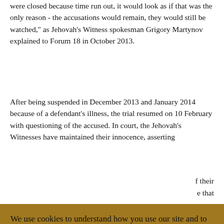were closed because time run out, it would look as if that was the only reason - the accusations would remain, they would still be watched," as Jehovah's Witness spokesman Grigory Martynov explained to Forum 18 in October 2013.
After being suspended in December 2013 and January 2014 because of a defendant's illness, the trial resumed on 10 February with questioning of the accused. In court, the Jehovah's Witnesses have maintained their innocence, asserting [partial text obscured by overlay] f their [partial] e that [partial] tions [partial] d that [partial] nned,
We use cookies to understand how you use our site and to improve your experience. By continuing to use our site, you accept our use of cookies and our privacy policy.
WWRN Privacy Policy
I Accept
organisation of Jehovah's Witnesses of Taganrog. I simply